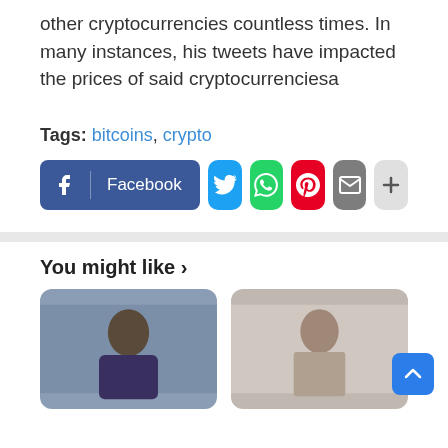other cryptocurrencies countless times. In many instances, his tweets have impacted the prices of said cryptocurrenciesa
Tags: bitcoins, crypto
[Figure (other): Social share buttons: Facebook, Twitter, WhatsApp, Pinterest, Email, More]
You might like ›
[Figure (photo): Two thumbnail images side by side below 'You might like' section]